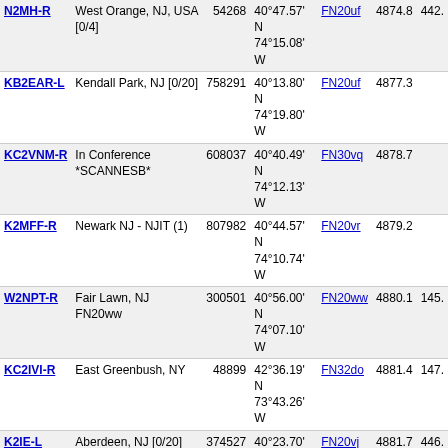| Callsign | Location | ID | Coordinates | Grid | Dist | Freq |
| --- | --- | --- | --- | --- | --- | --- |
| N2MH-R | West Orange, NJ, USA [0/4] | 54268 | 40°47.57' N 74°15.08' W | FN20uf | 4874.8 | 442. |
| KB2EAR-L | Kendall Park, NJ [0/20] | 758291 | 40°13.80' N 74°19.80' W | FN20uf | 4877.3 |  |
| KC2VNM-R | In Conference *SCANNESB* | 608037 | 40°40.49' N 74°12.13' W | FN30vq | 4878.7 |  |
| K2MFF-R | Newark NJ - NJIT (1) | 807982 | 40°44.57' N 74°10.74' W | FN20vr | 4879.2 |  |
| W2NPT-R | Fair Lawn, NJ FN20ww | 300501 | 40°56.00' N 74°07.10' W | FN20ww | 4880.1 | 145. |
| KC2IVI-R | East Greenbush, NY | 48899 | 42°36.19' N 73°43.26' W | FN32do | 4881.4 | 147. |
| K2IE-L | Aberdeen, NJ [0/20] | 374527 | 40°23.70' N 74°12.48' W | FN20vj | 4881.7 | 446. |
| KD2RVV-L | Hasbrouck Hieghts NJ [0/20] | 335721 | 40°51.90' N 74°04.52' W | FN20xu | 4883.1 |  |
| KC2RQR-L | In Conference KC2RC-R | 361124 | 40°36.94' N 74°07.33' W | FN20wo | 4883.6 |  |
| KC2IGS-L | STATEN ISLAND, NYC [0/20] | 17393 | 40°36.13' N 74°06.89' W | FN20wo | 4884.1 |  |
| W2RJR-R | Staten Island, NY [0/5] | 168188 | 40°34.72' N 74°07.13' W | FN20wn | 4884.2 | 224. |
| K2ACY-R | Atlantic City, NJ | 364380 | 39°23.97' N 74°22.28' W | FM29tj | 4884.9 | 447. |
| VA2RRA-R | Lac St-Jean,QC, 146.745 | 783560 | 48°29.00' N 72°20.00' W | FN38ul | 4886.3 | 146. |
| W2MRN-R | ... | ... | 40°...' N FN20... | FN20 | 488... |  |